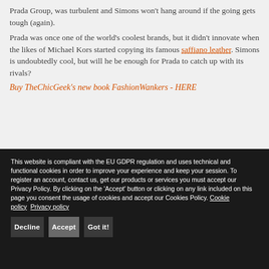Prada Group, was turbulent and Simons won't hang around if the going gets tough (again).
Prada was once one of the world's coolest brands, but it didn't innovate when the likes of Michael Kors started copying its famous saffiano leather. Simons is undoubtedly cool, but will he be enough for Prada to catch up with its rivals?
Buy TheChicGeek's new book FashionWankers - HERE
This website is compliant with the EU GDPR regulation and uses technical and functional cookies in order to improve your experience and keep your session. To register an account, contact us, get our products or services you must accept our Privacy Policy. By clicking on the 'Accept' button or clicking on any link included on this page you consent the usage of cookies and accept our Cookies Policy. Cookie policy  Privacy policy
Decline
Accept
Got it!